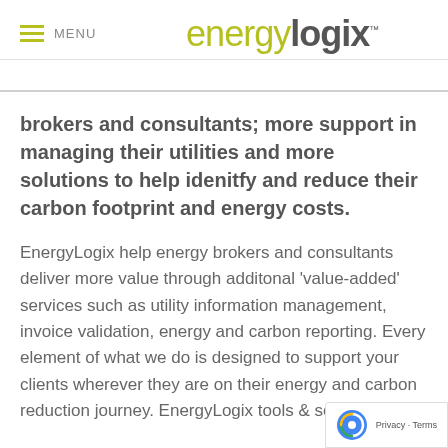MENU energylogix™
brokers and consultants; more support in managing their utilities and more solutions to help idenitfy and reduce their carbon footprint and energy costs.
EnergyLogix help energy brokers and consultants deliver more value through additonal 'value-added' services such as utility information management, invoice validation, energy and carbon reporting. Every element of what we do is designed to support your clients wherever they are on their energy and carbon reduction journey. EnergyLogix tools & services